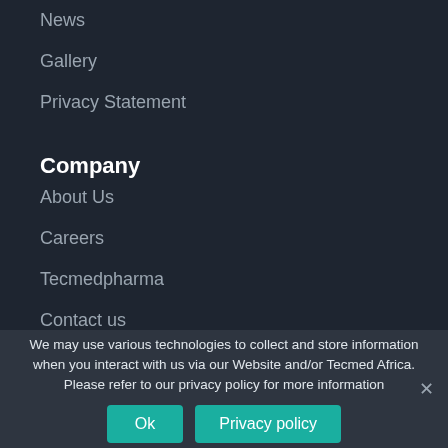News
Gallery
Privacy Statement
Company
About Us
Careers
Tecmedpharma
Contact us
We may use various technologies to collect and store information when you interact with us via our Website and/or Tecmed Africa. Please refer to our privacy policy for more information
Ok
Privacy policy